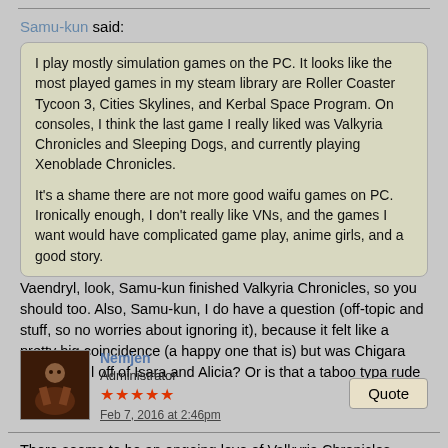Samu-kun said:
I play mostly simulation games on the PC. It looks like the most played games in my steam library are Roller Coaster Tycoon 3, Cities Skylines, and Kerbal Space Program. On consoles, I think the last game I really liked was Valkyria Chronicles and Sleeping Dogs, and currently playing Xenoblade Chronicles.

It's a shame there are not more good waifu games on PC. Ironically enough, I don't really like VNs, and the games I want would have complicated game play, anime girls, and a good story.
Vaendryl, look, Samu-kun finished Valkyria Chronicles, so you should too. Also, Samu-kun, I do have a question (off-topic and stuff, so no worries about ignoring it), because it felt like a pretty big coincidence (a happy one that is) but was Chigara based at all off of Isara and Alicia? Or is that a taboo typa rude question?
Nemjen
Administrator
★★★★★
Feb 7, 2016 at 2:46pm
There seems to be an ongoing love of Valkyria Chronicles which is always good to see, sadly I have only ever played the first one (PC port) so I can only say I enjoyed playing that one. 😛
Ah man, I have got so used to Xenforo when it comes to forums that